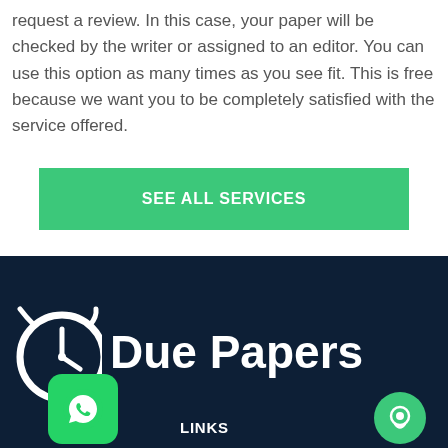request a review. In this case, your paper will be checked by the writer or assigned to an editor. You can use this option as many times as you see fit. This is free because we want you to be completely satisfied with the service offered.
[Figure (other): Green button labeled SEE ALL SERVICES]
[Figure (logo): Due Papers logo on dark navy background with clock icon, WhatsApp button, and chat button. LINKS label visible.]